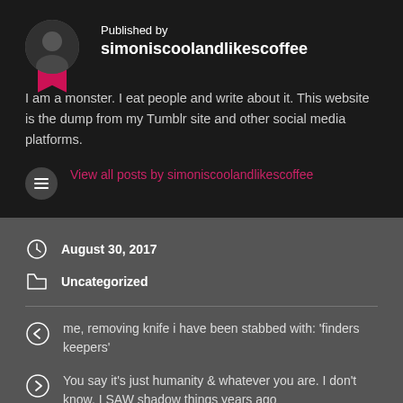Published by simoniscoolandlikescoffee
I am a monster. I eat people and write about it. This website is the dump from my Tumblr site and other social media platforms.
View all posts by simoniscoolandlikescoffee
August 30, 2017
Uncategorized
me, removing knife i have been stabbed with: 'finders keepers'
You say it's just humanity & whatever you are. I don't know. I SAW shadow things years ago